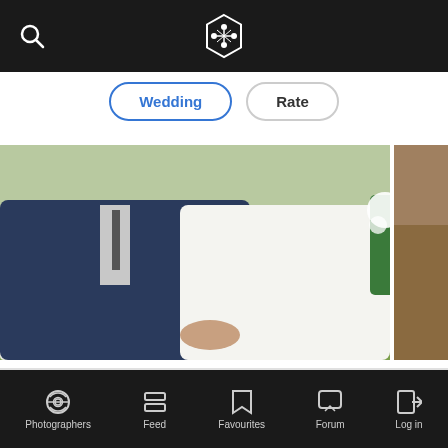App top navigation bar with search icon and logo
Wedding | Rate
[Figure (photo): Wedding couple photo: groom in dark suit and bride in white dress holding white flower bouquet, outdoor ceremony setting with white draped tables in background]
No rate is specified
Go to the profile →
Photographers | Feed | Favourites | Forum | Log in